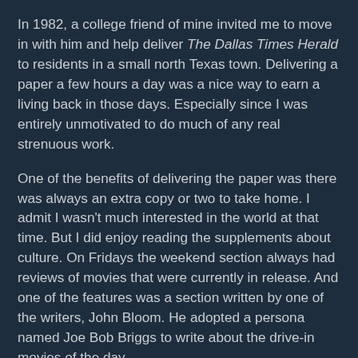In 1982, a college friend of mine invited me to move in with him and help deliver The Dallas Times Herald to residents in a small north Texas town.  Delivering a paper a few hours a day was a nice way to earn a living back in those days.  Especially since I was entirely unmotivated to do much of any real strenuous work.
One of the benefits of delivering the paper was there was always an extra copy or two to take home.  I admit I wasn't much interested in the world at that time.  But I did enjoy reading the supplements about culture.  On Fridays the weekend section always had reviews of movies that were currently in release.  And one of the features was a section written by one of the writers, John Bloom.  He adopted a persona named Joe Bob Briggs to write about the drive-in movies of the day.
Drive-ins, in case you are a neophyte to the halcyon days of bygone years, were these monolithic venues that showed movies outdoors.   And the typical fare was not exactly Oscar material.  If you've seen some of my earlier work you know I have addressed some pretty outre movies (such as the one I